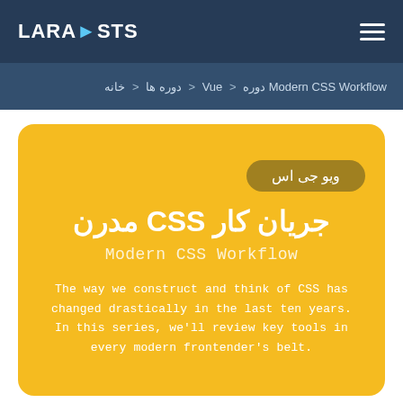LARACASTS
خانه < دوره ها < Vue < دوره Modern CSS Workflow
ویو جی اس
جریان کار CSS مدرن
Modern CSS Workflow
The way we construct and think of CSS has changed drastically in the last ten years. In this series, we'll review key tools in every modern frontender's belt.